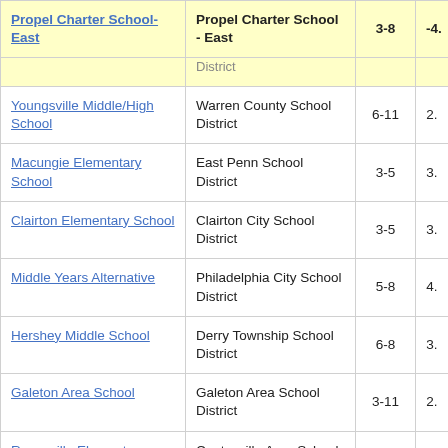| School | District | Grades | Value |
| --- | --- | --- | --- |
| Propel Charter School-East | Propel Charter School - East | 3-8 | -4. |
|  | District |  |  |
| Youngsville Middle/High School | Warren County School District | 6-11 | 2. |
| Macungie Elementary School | East Penn School District | 3-5 | 3. |
| Clairton Elementary School | Clairton City School District | 3-5 | 3. |
| Middle Years Alternative | Philadelphia City School District | 5-8 | 4. |
| Hershey Middle School | Derry Township School District | 6-8 | 3. |
| Galeton Area School | Galeton Area School District | 3-11 | 2. |
| Reeceville Elementary School | Coatesville Area School District | 3-5 | 4. |